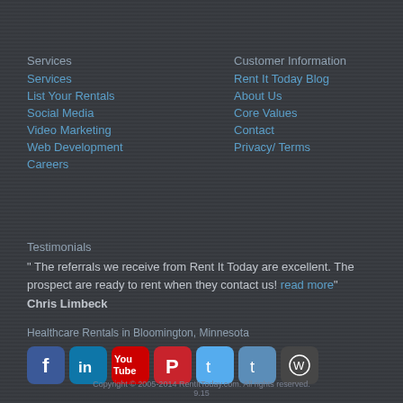Services
Services
List Your Rentals
Social Media
Video Marketing
Web Development
Careers
Customer Information
Rent It Today Blog
About Us
Core Values
Contact
Privacy/ Terms
Testimonials
" The referrals we receive from Rent It Today are excellent. The prospect are ready to rent when they contact us! read more"
Chris Limbeck
Healthcare Rentals in Bloomington, Minnesota
[Figure (other): Social media icons row: Facebook, LinkedIn, YouTube, Pinterest, Twitter, Tumblr, WordPress]
Copyright © 2005-2014 RentItToday.com. All rights reserved.
9.15